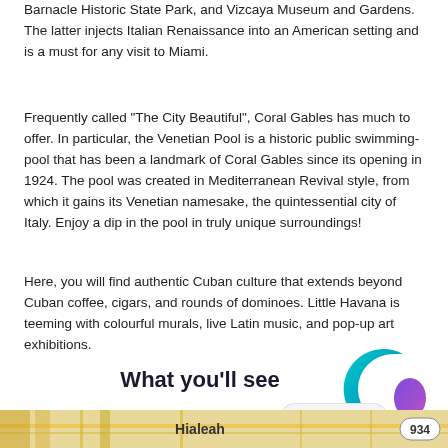Barnacle Historic State Park, and Vizcaya Museum and Gardens. The latter injects Italian Renaissance into an American setting and is a must for any visit to Miami.
Frequently called "The City Beautiful", Coral Gables has much to offer. In particular, the Venetian Pool is a historic public swimming-pool that has been a landmark of Coral Gables since its opening in 1924. The pool was created in Mediterranean Revival style, from which it gains its Venetian namesake, the quintessential city of Italy. Enjoy a dip in the pool in truly unique surroundings!
Here, you will find authentic Cuban culture that extends beyond Cuban coffee, cigars, and rounds of dominoes. Little Havana is teeming with colourful murals, live Latin music, and pop-up art exhibitions.
What you'll see
[Figure (logo): Circular logo with teal and purple gradient forming a C and teardrop shape]
We're Online
[Figure (map): Map strip showing Hialeah area with road number 934]